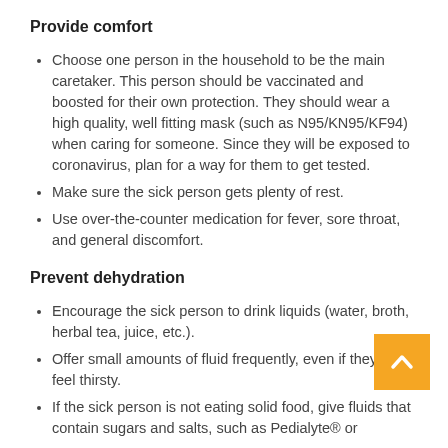Provide comfort
Choose one person in the household to be the main caretaker. This person should be vaccinated and boosted for their own protection. They should wear a high quality, well fitting mask (such as N95/KN95/KF94) when caring for someone. Since they will be exposed to coronavirus, plan for a way for them to get tested.
Make sure the sick person gets plenty of rest.
Use over-the-counter medication for fever, sore throat, and general discomfort.
Prevent dehydration
Encourage the sick person to drink liquids (water, broth, herbal tea, juice, etc.).
Offer small amounts of fluid frequently, even if they not feel thirsty.
If the sick person is not eating solid food, give fluids that contain sugars and salts, such as Pedialyte® or